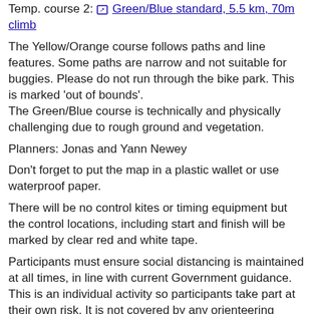Temp. course 2: Green/Blue standard, 5.5 km, 70m climb
The Yellow/Orange course follows paths and line features. Some paths are narrow and not suitable for buggies. Please do not run through the bike park. This is marked 'out of bounds'. The Green/Blue course is technically and physically challenging due to rough ground and vegetation.
Planners: Jonas and Yann Newey
Don't forget to put the map in a plastic wallet or use waterproof paper.
There will be no control kites or timing equipment but the control locations, including start and finish will be marked by clear red and white tape.
Participants must ensure social distancing is maintained at all times, in line with current Government guidance. This is an individual activity so participants take part at their own risk. It is not covered by any orienteering insurance policy.
Don't forget to record your GPS route on Strava.com